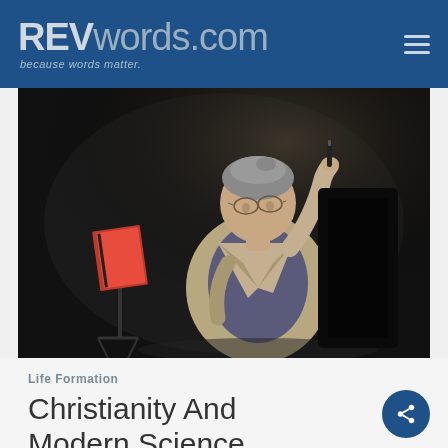REVwords.com — because words matter.
[Figure (photo): A middle-aged man in a light blazer and dark blue shirt stands at a lectern/music stand, holding a marker up in his right hand as if making a point. The background is dark/black. There is a red and black book visible on a stand to his left.]
Life Formation
Christianity And Modern Science